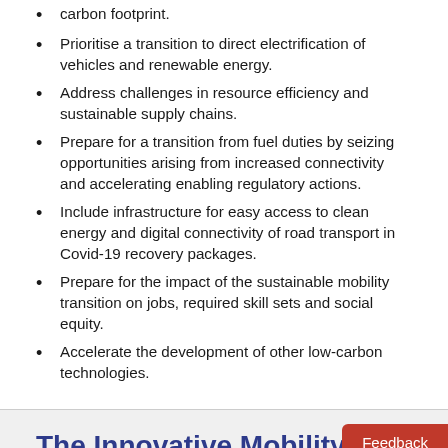carbon footprint.
Prioritise a transition to direct electrification of vehicles and renewable energy.
Address challenges in resource efficiency and sustainable supply chains.
Prepare for a transition from fuel duties by seizing opportunities arising from increased connectivity and accelerating enabling regulatory actions.
Include infrastructure for easy access to clean energy and digital connectivity of road transport in Covid-19 recovery packages.
Prepare for the impact of the sustainable mobility transition on jobs, required skill sets and social equity.
Accelerate the development of other low-carbon technologies.
The Innovative Mobility Landscape: The Case of Mobility as a Service
Case-Specific Policy Analysis, Policy Insights, 5 July 2021